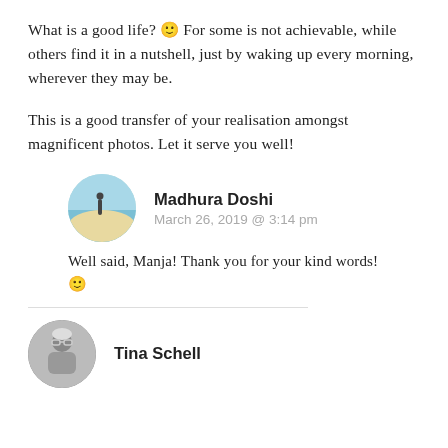What is a good life? 🙂 For some is not achievable, while others find it in a nutshell, just by waking up every morning, wherever they may be.
This is a good transfer of your realisation amongst magnificent photos. Let it serve you well!
Madhura Doshi
March 26, 2019 @ 3:14 pm
Well said, Manja! Thank you for your kind words! 🙂
Tina Schell